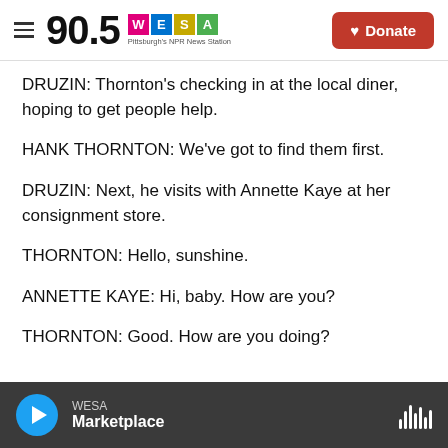90.5 WESA Pittsburgh's NPR News Station | Donate
DRUZIN: Thornton's checking in at the local diner, hoping to get people help.
HANK THORNTON: We've got to find them first.
DRUZIN: Next, he visits with Annette Kaye at her consignment store.
THORNTON: Hello, sunshine.
ANNETTE KAYE: Hi, baby. How are you?
THORNTON: Good. How are you doing?
WESA Marketplace